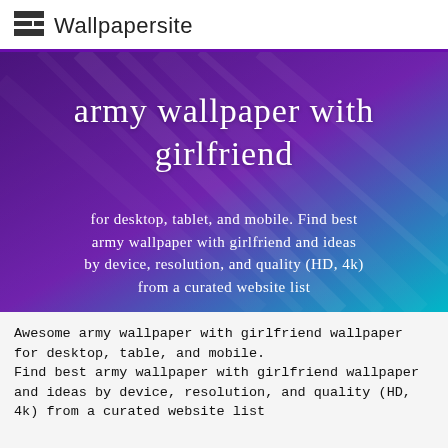Wallpapersite
army wallpaper with girlfriend
for desktop, tablet, and mobile. Find best army wallpaper with girlfriend and ideas by device, resolution, and quality (HD, 4k) from a curated website list
Awesome army wallpaper with girlfriend wallpaper for desktop, table, and mobile.
Find best army wallpaper with girlfriend wallpaper and ideas by device, resolution, and quality (HD, 4k) from a curated website list